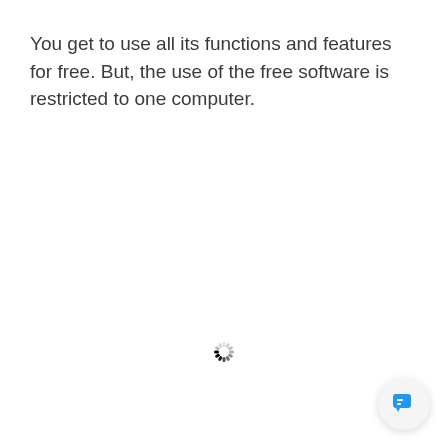You get to use all its functions and features for free. But, the use of the free software is restricted to one computer.
[Figure (other): Loading spinner icon — a circular arrangement of short dashes in varying shades from black to light gray, indicating a loading state.]
[Figure (other): Chat bubble icon button — a rounded white circle containing a blue speech/chat bubble icon, positioned in the bottom-right corner of the page.]